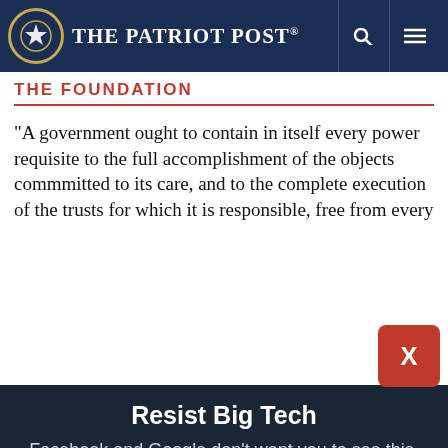The Patriot Post
THE FOUNDATION
“A government ought to contain in itself every power requisite to the full accomplishment of the objects commmitted to its care, and to the complete execution of the trusts for which it is responsible, free from every
Resist Big Tech
Facebook and Google don’t want you to see this. Stay current with America’s News Digest. It’s Right. It’s Free.
Email address | Subscribe
I'm Already Subscribed